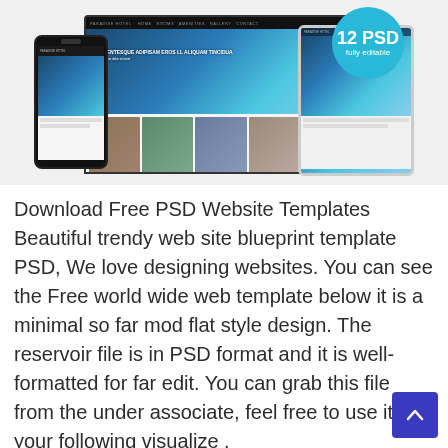[Figure (screenshot): Screenshot mockup showing a travel/hotel website template displayed on desktop browser, tablet, and mobile phone. A teal circular badge reads '12 PSD fully editable' in the top right corner.]
Download Free PSD Website Templates Beautiful trendy web site blueprint template PSD, We love designing websites. You can see the Free world wide web template below it is a minimal so far mod flat style design. The reservoir file is in PSD format and it is well-formatted for far edit. You can grab this file from the under associate, feel free to use it for your following visualize .